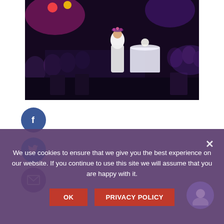[Figure (photo): Event or gala photo showing an audience in formal attire seated in a darkened venue with purple stage lighting. A performer or presenter in a white dress stands/sits on a raised platform. Tables with white tablecloths and floral arrangements are visible.]
[Figure (infographic): Social media sharing buttons: Facebook (blue circle with f icon), Twitter (light blue circle with bird icon), and Email (purple circle with envelope icon)]
We use cookies to ensure that we give you the best experience on our website. If you continue to use this site we will assume that you are happy with it.
OK   PRIVACY POLICY